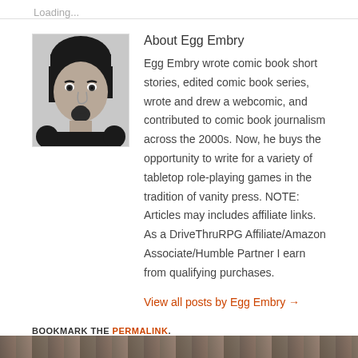Loading...
[Figure (photo): Black and white photo of Egg Embry, a young man with dark hair and a goatee]
About Egg Embry
Egg Embry wrote comic book short stories, edited comic book series, wrote and drew a webcomic, and contributed to comic book journalism across the 2000s. Now, he buys the opportunity to write for a variety of tabletop role-playing games in the tradition of vanity press. NOTE: Articles may includes affiliate links. As a DriveThruRPG Affiliate/Amazon Associate/Humble Partner I earn from qualifying purchases.
View all posts by Egg Embry →
BOOKMARK THE PERMALINK.
[Figure (photo): Footer background image — dark brownish photo strip at bottom of page]